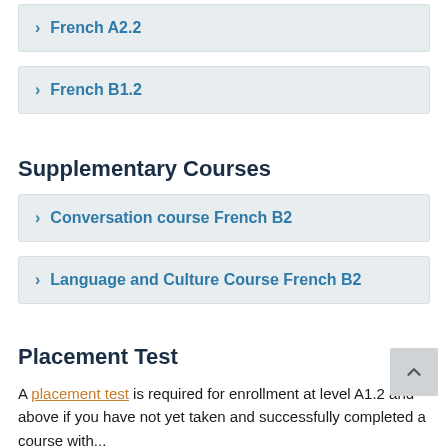French A2.2
French B1.2
Supplementary Courses
Conversation course French B2
Language and Culture Course French B2
Placement Test
A placement test is required for enrollment at level A1.2 and above if you have not yet taken and successfully completed a course with...